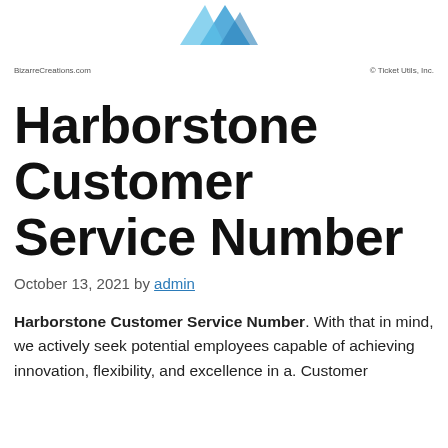[Figure (logo): Partial logo image visible at top center of page, blue geometric shape]
BizarreCreations.com    © Ticket Utils, Inc.
Harborstone Customer Service Number
October 13, 2021 by admin
Harborstone Customer Service Number. With that in mind, we actively seek potential employees capable of achieving innovation, flexibility, and excellence in a. Customer